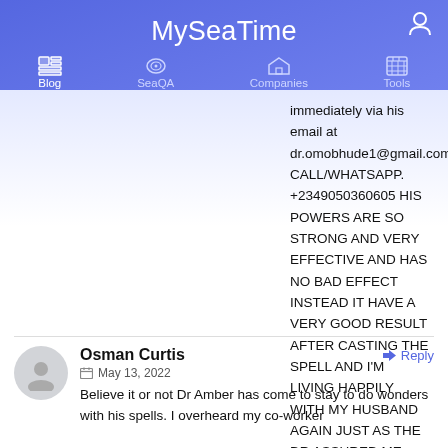MySeaTime
Blog | SeaQA | Companies | Tools
immediately via his email at dr.omobhude1@gmail.com, CALL/WHATSAPP. +2349050360605 HIS POWERS ARE SO STRONG AND VERY EFFECTIVE AND HAS NO BAD EFFECT INSTEAD IT HAVE A VERY GOOD RESULT AFTER CASTING THE SPELL AND I'M LIVING HAPPILY WITH MY HUSBAND AGAIN JUST AS THE DR ASSURED ME FROM THE BEGINNING, THANKS TO Dr omobhude .. dr.omobhude1@gmail.com
Osman Curtis — May 13, 2022 — Believe it or not Dr Amber has come to stay to do wonders with his spells. I overheard my co-worker